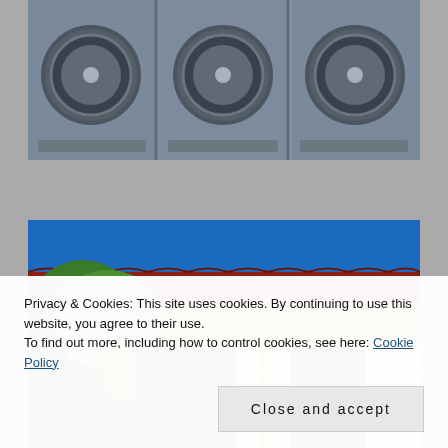[Figure (photo): Top portion of photo showing a row of front-loading washing machines in gray/silver, viewed from slightly above, against a gray background]
[Figure (photo): Photo of a yellow/ochre colored Mediterranean-style building facade with green shuttered arched windows, ivy/greenery on the left side, red tile roof, and bright blue sky above]
Privacy & Cookies: This site uses cookies. By continuing to use this website, you agree to their use.
To find out more, including how to control cookies, see here: Cookie Policy
Close and accept